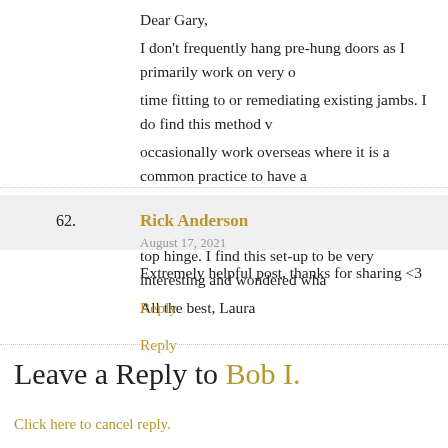Dear Gary,
I don't frequently hang pre-hung doors as I primarily work on very o... time fitting to or remediating existing jambs. I do find this method w... occasionally work overseas where it is a common practice to have a... is, rather than the 3rd hinge being centered between the top two, it i... top hinge. I find this set-up to be very interesting and wondered wha...
All the best, Laura
Reply
Rick Anderson
August 17, 2021
Extremely helpful post, thanks for sharing <3
Reply
Leave a Reply to Bob I.
Click here to cancel reply.